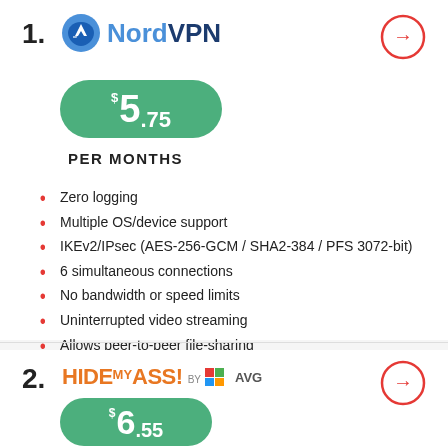1. NordVPN
$5.75 PER MONTHS
Zero logging
Multiple OS/device support
IKEv2/IPsec (AES-256-GCM / SHA2-384 / PFS 3072-bit)
6 simultaneous connections
No bandwidth or speed limits
Uninterrupted video streaming
Allows peer-to-peer file-sharing
2. HideMyAss! by AVG
$6.55